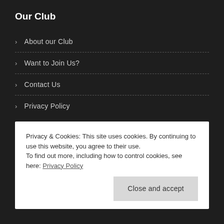Our Club
About our Club
Want to Join Us?
Contact Us
Privacy Policy
Privacy & Cookies: This site uses cookies. By continuing to use this website, you agree to their use.
To find out more, including how to control cookies, see here: Privacy Policy
Close and accept